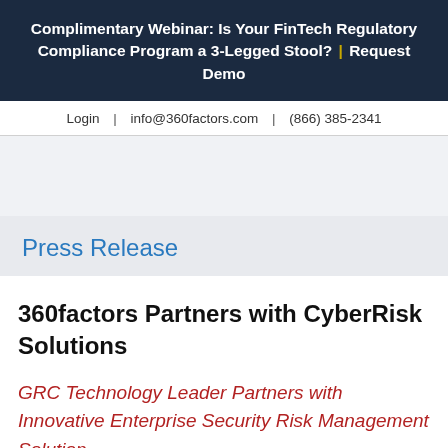Complimentary Webinar: Is Your FinTech Regulatory Compliance Program a 3-Legged Stool? | Request Demo
Login  |  info@360factors.com  |  (866) 385-2341
Press Release
360factors Partners with CyberRisk Solutions
GRC Technology Leader Partners with Innovative Enterprise Security Risk Management Solutions Provider, Expand...